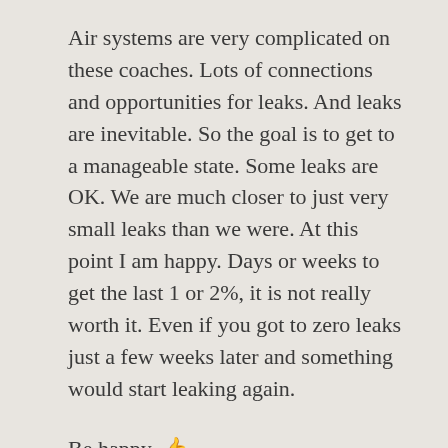Air systems are very complicated on these coaches. Lots of connections and opportunities for leaks. And leaks are inevitable. So the goal is to get to a manageable state. Some leaks are OK. We are much closer to just very small leaks than we were. At this point I am happy. Days or weeks to get the last 1 or 2%, it is not really worth it. Even if you got to zero leaks just a few weeks later and something would start leaking again.
Be happy. 👍
More Later, Much Love,
Roger and Susan